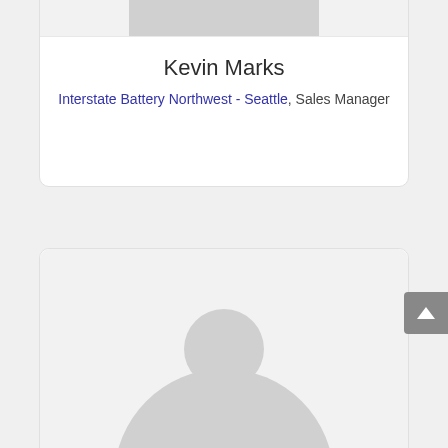[Figure (illustration): Profile card for Kevin Marks showing a placeholder avatar icon (head and shoulders silhouette in gray) on a light gray background]
Kevin Marks
Interstate Battery Northwest - Seattle, Sales Manager
[Figure (illustration): Second profile card showing a placeholder avatar with a large gray circle (head) on a light gray background, partially visible]